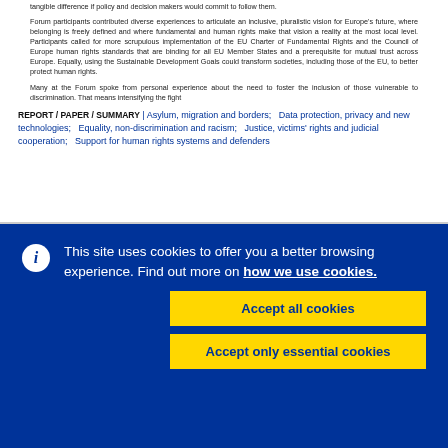tangible difference if policy and decision makers would commit to follow them.
Forum participants contributed diverse experiences to articulate an inclusive, pluralistic vision for Europe's future, where belonging is freely defined and where fundamental and human rights make that vision a reality at the most local level. Participants called for more scrupulous implementation of the EU Charter of Fundamental Rights and the Council of Europe human rights standards that are binding for all EU Member States and a prerequisite for mutual trust across Europe. Equally, using the Sustainable Development Goals could transform societies, including those of the EU, to better protect human rights.
Many at the Forum spoke from personal experience about the need to foster the inclusion of those vulnerable to discrimination. That means intensifying the fight
REPORT / PAPER / SUMMARY | Asylum, migration and borders;   Data protection, privacy and new technologies;   Equality, non-discrimination and racism;   Justice, victims' rights and judicial cooperation;   Support for human rights systems and defenders
This site uses cookies to offer you a better browsing experience. Find out more on how we use cookies.
Accept all cookies
Accept only essential cookies